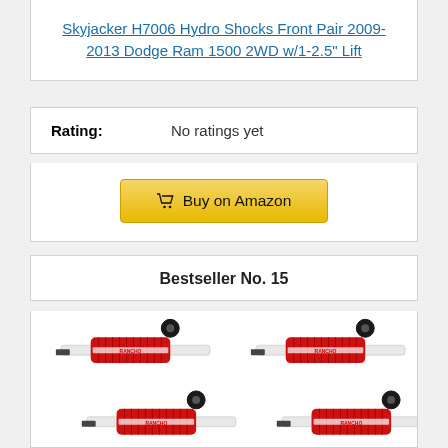Skyjacker H7006 Hydro Shocks Front Pair 2009-2013 Dodge Ram 1500 2WD w/1-2.5" Lift
| Rating: | No ratings yet |
| --- | --- |
[Figure (other): Buy on Amazon button with shopping cart icon]
Bestseller No. 15
[Figure (photo): Four Rancho shock absorbers with red rubber boots arranged in a 2x2 grid on white background]